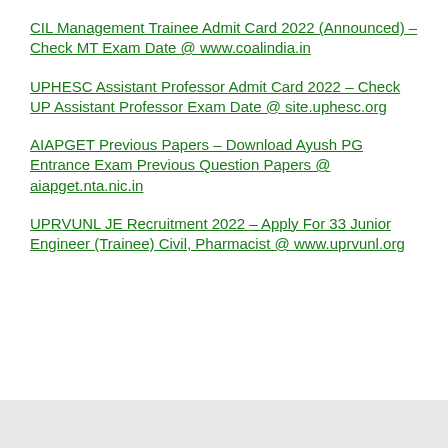CIL Management Trainee Admit Card 2022 (Announced) – Check MT Exam Date @ www.coalindia.in
UPHESC Assistant Professor Admit Card 2022 – Check UP Assistant Professor Exam Date @ site.uphesc.org
AIAPGET Previous Papers – Download Ayush PG Entrance Exam Previous Question Papers @ aiapget.nta.nic.in
UPRVUNL JE Recruitment 2022 – Apply For 33 Junior Engineer (Trainee) Civil, Pharmacist @ www.uprvunl.org